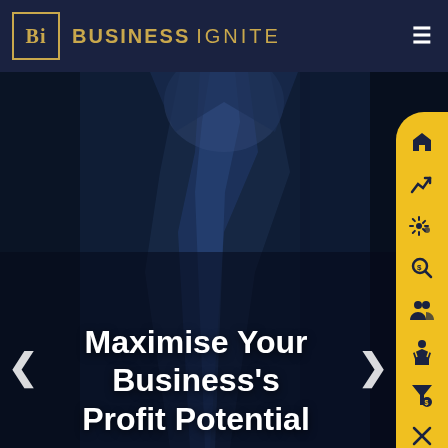[Figure (logo): Business Ignite logo: BI monogram in gold square border on left, BUSINESS IGNITE text in gold on dark navy header]
[Figure (photo): Close-up photograph of a dark navy business suit with tie, serving as hero background image for a business consulting website]
Maximise Your Business's Profit Potential